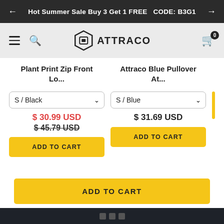Hot Summer Sale Buy 3 Get 1 FREE  CODE: B3G1
[Figure (logo): Attraco brand logo with hexagonal shield icon and text ATTRACO]
Plant Print Zip Front Lo...
Attraco Blue Pullover At...
S / Black
S / Blue
$30.99 USD
$45.79 USD
$31.69 USD
ADD TO CART
ADD TO CART
ADD TO CART